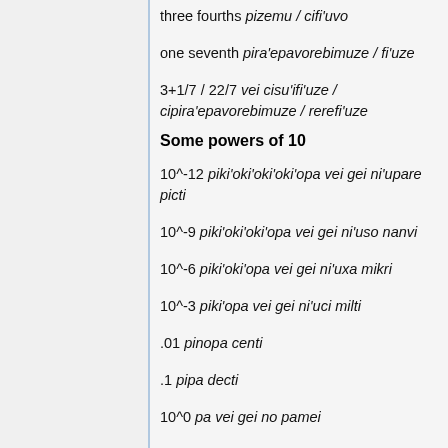three fourths pizemu / cifi'uvo
one seventh pira'epavorebimuze / fi'uze
3+1/7 / 22/7 vei cisu'ifi'uze / cipira'epavorebimuze / rerefi'uze
Some powers of 10
10^-12 piki'oki'oki'oki'opa vei gei ni'upare picti
10^-9 piki'oki'oki'opa vei gei ni'uso nanvi
10^-6 piki'oki'opa vei gei ni'uxa mikri
10^-3 piki'opa vei gei ni'uci milti
.01 pinopa centi
.1 pipa decti
10^0 pa vei gei no pamei
10 pano dekto
100 panono xecto
10^3 paki'o vei gei ci kilto